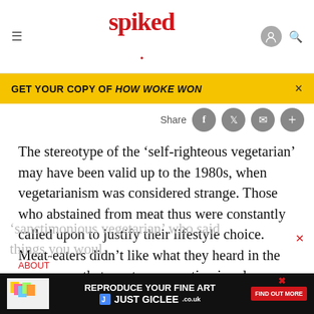spiked
GET YOUR COPY OF HOW WOKE WON
Share
The stereotype of the ‘self-righteous vegetarian’ may have been valid up to the 1980s, when vegetarianism was considered strange. Those who abstained from meat thus were constantly called upon to justify their lifestyle choice. Meat-eaters didn’t like what they heard in the response – that meat consumption involves killing – hence the creation of the ‘sanctimonious vegetarian’ who said things you woul...
ABOUT
[Figure (screenshot): Advertisement for Just Giclee fine art reproduction service with colorful sticky notes image on dark background]